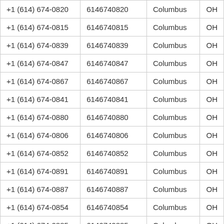| +1 (614) 674-0820 | 6146740820 | Columbus | OH |
| +1 (614) 674-0815 | 6146740815 | Columbus | OH |
| +1 (614) 674-0839 | 6146740839 | Columbus | OH |
| +1 (614) 674-0847 | 6146740847 | Columbus | OH |
| +1 (614) 674-0867 | 6146740867 | Columbus | OH |
| +1 (614) 674-0841 | 6146740841 | Columbus | OH |
| +1 (614) 674-0880 | 6146740880 | Columbus | OH |
| +1 (614) 674-0806 | 6146740806 | Columbus | OH |
| +1 (614) 674-0852 | 6146740852 | Columbus | OH |
| +1 (614) 674-0891 | 6146740891 | Columbus | OH |
| +1 (614) 674-0887 | 6146740887 | Columbus | OH |
| +1 (614) 674-0854 | 6146740854 | Columbus | OH |
| +1 (614) 674-0885 | 6146740885 | Columbus | OH |